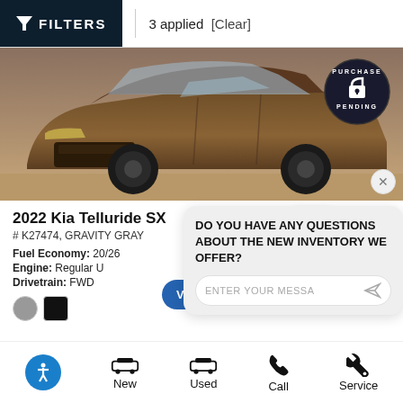FILTERS  3 applied  [Clear]
[Figure (photo): Brown Kia Telluride SUV front-angle view with a 'Purchase Pending' badge overlay in top right corner]
2022 Kia Telluride SX
# K27474, GRAVITY GRAY
Fuel Economy: 20/26
Engine: Regular U
Drivetrain: FWD
[Figure (logo): Kia logo and Royal dealership logo]
[Figure (screenshot): Chat popup with message 'DO YOU HAVE ANY QUESTIONS ABOUT THE NEW INVENTORY WE OFFER?' and an input field reading 'ENTER YOUR MESSA']
New  Used  Call  Service